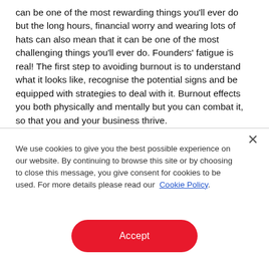can be one of the most rewarding things you'll ever do but the long hours, financial worry and wearing lots of hats can also mean that it can be one of the most challenging things you'll ever do. Founders' fatigue is real! The first step to avoiding burnout is to understand what it looks like, recognise the potential signs and be equipped with strategies to deal with it. Burnout effects you both physically and mentally but you can combat it, so that you and your business thrive.
We use cookies to give you the best possible experience on our website. By continuing to browse this site or by choosing to close this message, you give consent for cookies to be used. For more details please read our Cookie Policy.
Accept